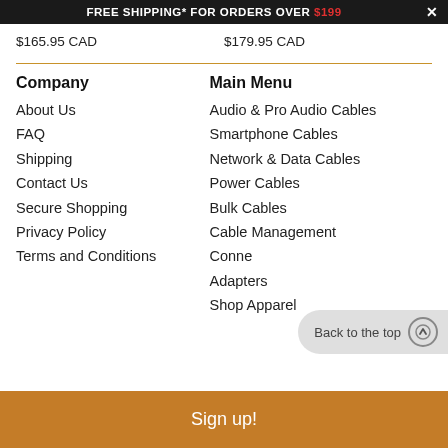FREE SHIPPING* FOR ORDERS OVER $199  ×
$165.95 CAD    $179.95 CAD
Company
About Us
FAQ
Shipping
Contact Us
Secure Shopping
Privacy Policy
Terms and Conditions
Main Menu
Audio & Pro Audio Cables
Smartphone Cables
Network & Data Cables
Power Cables
Bulk Cables
Cable Management
Connectors & Adapters
Shop Apparel
Back to the top
Sign up!